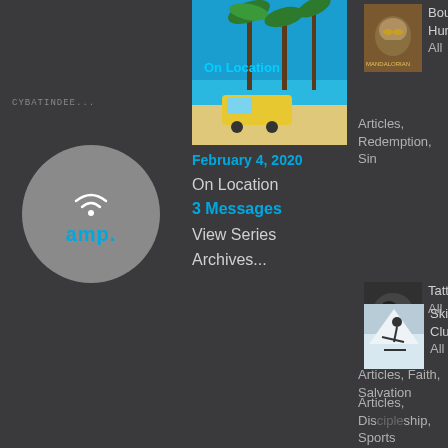CYBATINDEE
[Figure (logo): AMP radio logo circle with wifi icon and 'amp.' text in blue on grey background]
[Figure (photo): On Location series image with palm trees and yellow van on beach]
February 4, 2020
On Location
3 Messages
View Series
Archives...
[Figure (photo): Mandalorian bounty hunter image thumbnail]
Bounty Hunter All
Articles, Redemption, Sin
[Figure (photo): Tattoos article thumbnail - dark image]
Tattoos All
Articles, Faith, Salvation
[Figure (photo): Ski Club thumbnail - skier on snowy mountain]
Ski Club All
Articles, Discipleship, Sports